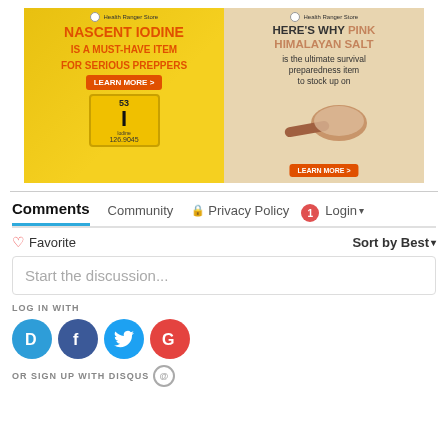[Figure (illustration): Two Health Ranger Store advertisement banners side by side. Left: yellow background with 'NASCENT IODINE IS A MUST-HAVE ITEM FOR SERIOUS PREPPERS' in orange bold text, LEARN MORE button, and iodine element graphic (53, I, Iodine, 126.9045). Right: sandy background with 'HERE'S WHY PINK HIMALAYAN SALT is the ultimate survival preparedness item to stock up on', wooden scoop with salt, and LEARN MORE button.]
Comments   Community   🔒 Privacy Policy   1   Login ▾
♡ Favorite   Sort by Best ▾
Start the discussion...
LOG IN WITH
[Figure (illustration): Four social login icons: Disqus (D, blue), Facebook (f, dark blue), Twitter (bird, light blue), Google (G, red)]
OR SIGN UP WITH DISQUS ⓐ